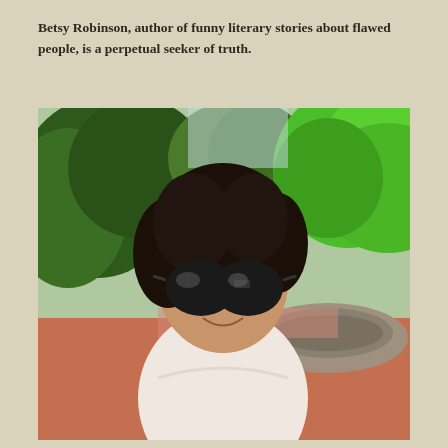Betsy Robinson, author of funny literary stories about flawed people, is a perpetual seeker of truth.
[Figure (photo): A woman with curly dark hair and large round dark sunglasses smiling outdoors near a circular fountain, with green trees in the background. She is wearing a white sleeveless top.]